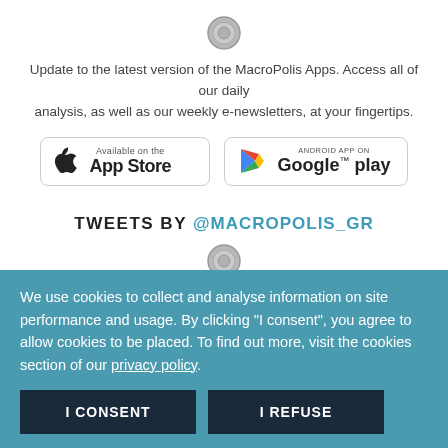[Figure (logo): MacroPolis circular logo/seal icon]
Update to the latest version of the MacroPolis Apps. Access all of our daily analysis, as well as our weekly e-newsletters, at your fingertips.
[Figure (other): App Store and Google Play store buttons]
TWEETS BY @MACROPOLIS_GR
[Figure (logo): MacroPolis circular logo/seal icon (second)]
We use cookies to collect and analyse information on site performance and usage. By clicking "I consent", you agree to allow cookies to be placed. To find out more, visit the cookies section of our privacy policy.
I CONSENT   I REFUSE